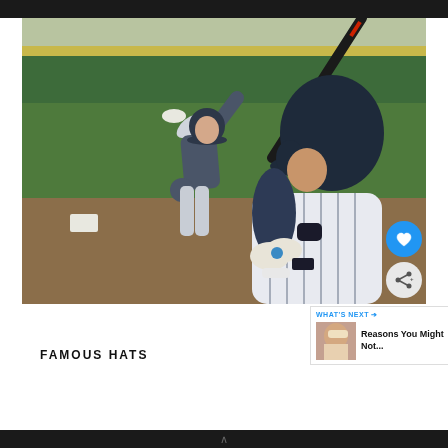[Figure (photo): Baseball scene showing a batter in a white pinstripe uniform with dark helmet holding a bat ready to swing, and a pitcher in the background mid-throw wearing navy uniform, taken in an outdoor baseball stadium with green field and stands visible.]
FAMOUS HATS